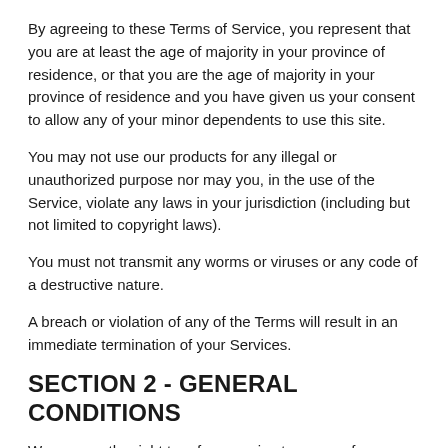By agreeing to these Terms of Service, you represent that you are at least the age of majority in your province of residence, or that you are the age of majority in your province of residence and you have given us your consent to allow any of your minor dependents to use this site.
You may not use our products for any illegal or unauthorized purpose nor may you, in the use of the Service, violate any laws in your jurisdiction (including but not limited to copyright laws).
You must not transmit any worms or viruses or any code of a destructive nature.
A breach or violation of any of the Terms will result in an immediate termination of your Services.
SECTION 2 - GENERAL CONDITIONS
We reserve the right to refuse service to anyone for any reason at any time.
You agree not to reproduce, duplicate, copy, sell, resell or exploit any portion of the Service, use of the Service, or access to the Service or any contact on the website through which the service is provided, without express written permission by us.